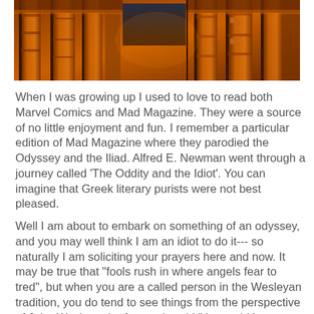[Figure (photo): Photograph of ancient temple columns illuminated in warm orange/amber light at night, with ornate carved stone pillars and a split composition view]
When I was growing up I used to love to read both Marvel Comics and Mad Magazine. They were a source of no little enjoyment and fun. I remember a particular edition of Mad Magazine where they parodied the Odyssey and the Iliad. Alfred E. Newman went through a journey called 'The Oddity and the Idiot'. You can imagine that Greek literary purists were not best pleased.
Well I am about to embark on something of an odyssey, and you may well think I am an idiot to do it--- so naturally I am soliciting your prayers here and now. It may be true that "fools rush in where angels fear to tred", but when you are a called person in the Wesleyan tradition, you do tend to see things from the perspective of John Wesley, who famously said "the world is my parish".
On May 7th I leave for the land of OZ also known as Down Under, and Australia. I don't arrive until May 9th, since I am crossing the international date line, and I must go thru